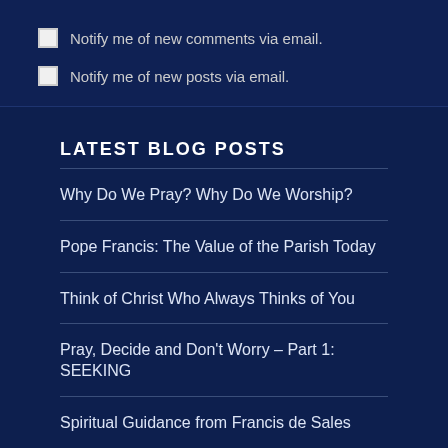Notify me of new comments via email.
Notify me of new posts via email.
LATEST BLOG POSTS
Why Do We Pray? Why Do We Worship?
Pope Francis: The Value of the Parish Today
Think of Christ Who Always Thinks of You
Pray, Decide and Don't Worry – Part 1: SEEKING
Spiritual Guidance from Francis de Sales